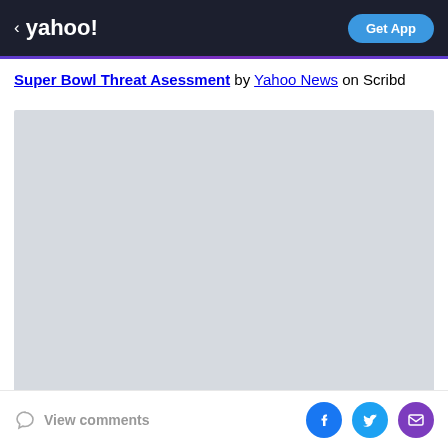yahoo! Get App
Super Bowl Threat Asessment by Yahoo News on Scribd
[Figure (screenshot): Gray placeholder rectangle representing embedded Scribd document preview]
View comments